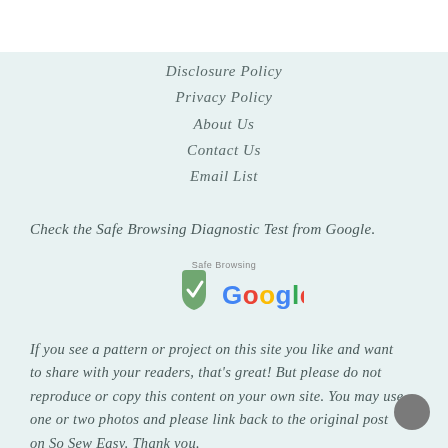Disclosure Policy
Privacy Policy
About Us
Contact Us
Email List
Check the Safe Browsing Diagnostic Test from Google.
[Figure (logo): Google Safe Browsing badge with green shield checkmark logo and Google wordmark in multicolor]
If you see a pattern or project on this site you like and want to share with your readers, that's great! But please do not reproduce or copy this content on your own site. You may use one or two photos and please link back to the original post on So Sew Easy. Thank you.